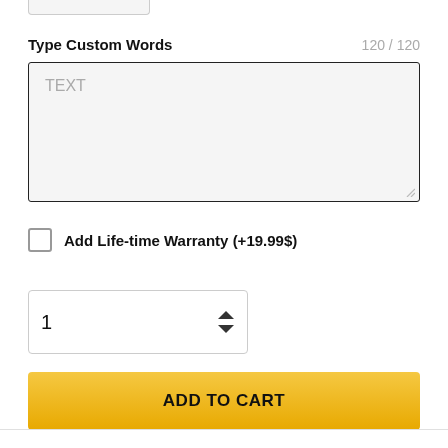[Figure (screenshot): Partial rounded rectangle button at top, partially cropped]
Type Custom Words
120 / 120
[Figure (screenshot): Text input textarea with placeholder text 'TEXT' and resize handle, light gray background]
Add Life-time Warranty (+19.99$)
[Figure (screenshot): Quantity spinner input showing value 1 with up/down arrows]
[Figure (screenshot): ADD TO CART yellow button]